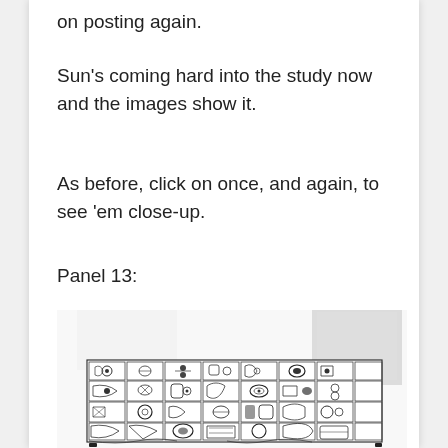on posting again.
Sun's coming hard into the study now and the images show it.
As before, click on once, and again, to see 'em close-up.
Panel 13:
[Figure (photo): A scanned image of an ancient carved stone panel (Panel 13) showing rows of intricate Maya or similar Mesoamerican glyphs/hieroglyphs in a horizontal band, with a lighter blurred area on the upper right portion of the scan.]